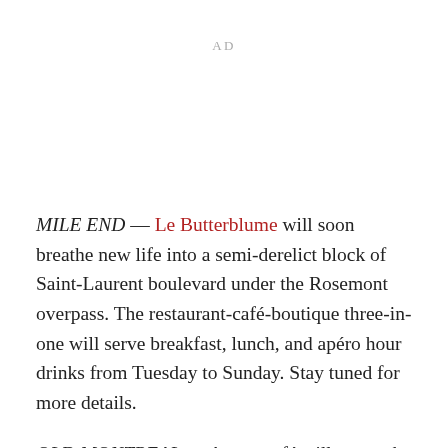AD
MILE END — Le Butterblume will soon breathe new life into a semi-derelict block of Saint-Laurent boulevard under the Rosemont overpass. The restaurant-café-boutique three-in-one will serve breakfast, lunch, and apéro hour drinks from Tuesday to Sunday. Stay tuned for more details.
OLD MONTREAL — A new café will soon take over a former Second Cup outlet in Old Montreal. Les Intraitables, from a group of six partners, plans to serve coffee from local roasters, food, and bistro-style meals, and other items.